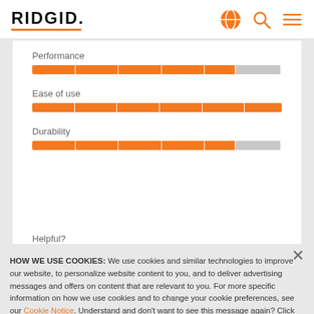[Figure (logo): RIDGID logo with orange underline]
[Figure (infographic): Three horizontal rating bars: Performance (~82% filled), Ease of use (~100% filled), Durability (~80% filled), each segmented orange bar on white card]
Helpful?
HOW WE USE COOKIES: We use cookies and similar technologies to improve our website, to personalize website content to you, and to deliver advertising messages and offers on content that are relevant to you. For more specific information on how we use cookies and to change your cookie preferences, see our Cookie Notice. Understand and don't want to see this message again? Click the X to close this notice.